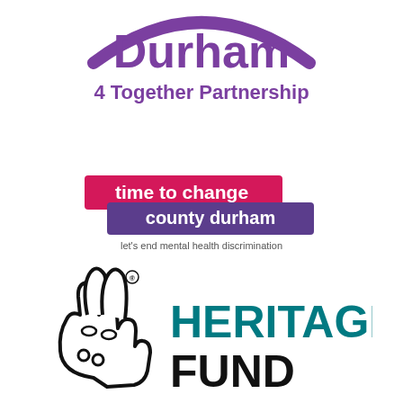[Figure (logo): Durham 4 Together Partnership logo with purple text and arc shape at top]
[Figure (logo): Time to Change County Durham logo - pink banner with 'time to change' and purple banner with 'county durham', tagline 'let's end mental health discrimination']
[Figure (logo): National Lottery Heritage Fund logo - crossed fingers hand symbol with HERITAGE FUND text in teal]